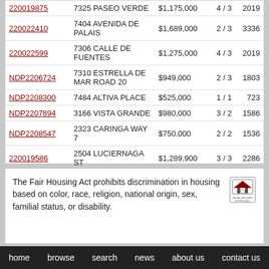| MLS# | Address | Price | Bd/Ba | SqFt |
| --- | --- | --- | --- | --- |
| 220019875 | 7325 PASEO VERDE | $1,175,000 | 4 / 3 | 2019 |
| 220022410 | 7404 AVENIDA DE PALAIS | $1,689,000 | 2 / 3 | 3336 |
| 220022599 | 7306 CALLE DE FUENTES | $1,275,000 | 4 / 3 | 2019 |
| NDP2206724 | 7310 ESTRELLA DE MAR ROAD 20 | $949,000 | 2 / 3 | 1803 |
| NDP2208300 | 7484 ALTIVA PLACE | $525,000 | 1 / 1 | 723 |
| NDP2207894 | 3166 VISTA GRANDE | $980,000 | 3 / 2 | 1586 |
| NDP2208547 | 2323 CARINGA WAY 7 | $750,000 | 2 / 2 | 1536 |
| 220019586 | 2504 LUCIERNAGA ST | $1,289,900 | 3 / 3 | 2286 |
| 220020337 | 2856 LUCIERNAGA ST | $979,900 | 3 / 3 | 1824 |
The Fair Housing Act prohibits discrimination in housing based on color, race, religion, national origin, sex, familial status, or disability.
home   browse   search   news   about us   contact us